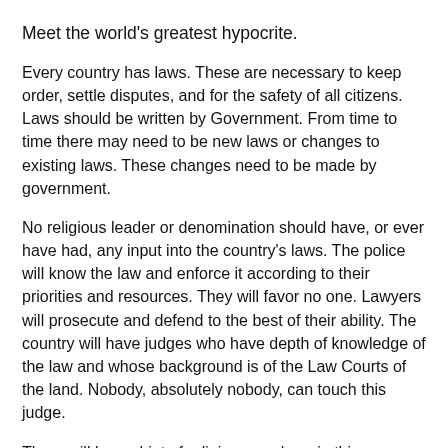Meet the world's greatest hypocrite.
Every country has laws. These are necessary to keep order, settle disputes, and for the safety of all citizens. Laws should be written by Government. From time to time there may need to be new laws or changes to existing laws. These changes need to be made by government.
No religious leader or denomination should have, or ever have had, any input into the country's laws. The police will know the law and enforce it according to their priorities and resources. They will favor no one. Lawyers will prosecute and defend to the best of their ability. The country will have judges who have depth of knowledge of the law and whose background is of the Law Courts of the land. Nobody, absolutely nobody, can touch this judge.
There will be no hint of religion anywhere in this proceeding. Religious books are not the law. Religious leaders cannot administer the law. Let them stay in the church, temple, synagogue, mosque.